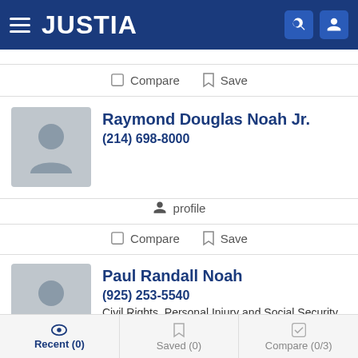JUSTIA
Compare  Save
Raymond Douglas Noah Jr.
(214) 698-8000
profile
Compare  Save
Paul Randall Noah
(925) 253-5540
Civil Rights, Personal Injury and Social Security Disability
Recent (0)   Saved (0)   Compare (0/3)